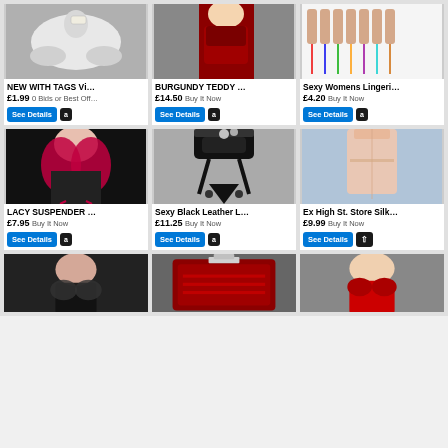[Figure (photo): White thong underwear with tag on gray background]
NEW WITH TAGS Vi…
£1.99 0 Bids or Best Off…
[Figure (photo): Woman in burgundy red teddy lingerie]
BURGUNDY TEDDY …
£14.50 Buy It Now
[Figure (photo): Sexy Womens Lingerie set with multiple thong styles shown from behind]
Sexy Womens Lingeri…
£4.20 Buy It Now
[Figure (photo): Woman in red lacy suspender lingerie]
LACY SUSPENDER …
£7.95 Buy It Now
[Figure (photo): Black leather look lingerie suspender set with lace]
Sexy Black Leather L…
£11.25 Buy It Now
[Figure (photo): Pink silk slip dress on hanger]
Ex High St. Store Silk…
£9.99 Buy It Now
[Figure (photo): Woman in black lace lingerie bra (partial, bottom row)]
[Figure (photo): Lingerie item packaged in red gift box (partial, bottom row)]
[Figure (photo): Woman in red bra lingerie set (partial, bottom row)]